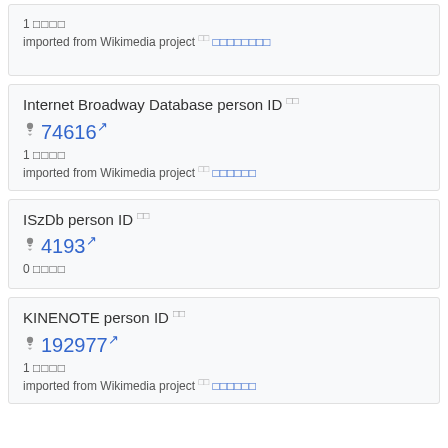1 □□□□
imported from Wikimedia project □□ □□□□□□□□
Internet Broadway Database person ID □□
74616 ↗
1 □□□□
imported from Wikimedia project □□ □□□□□□
ISzDb person ID □□
4193 ↗
0 □□□□
KINENOTE person ID □□
192977 ↗
1 □□□□
imported from Wikimedia project □□ □□□□□□